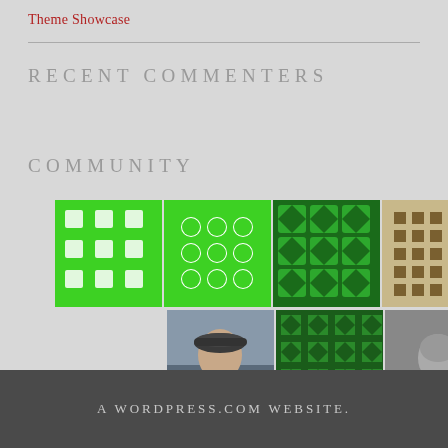Theme Showcase
RECENT COMMENTERS
COMMUNITY
[Figure (photo): Grid of community member avatar photos and profile icons arranged in two rows]
A WORDPRESS.COM WEBSITE.